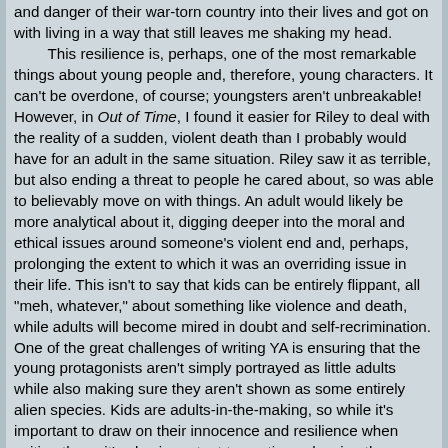and danger of their war-torn country into their lives and got on with living in a way that still leaves me shaking my head. This resilience is, perhaps, one of the most remarkable things about young people and, therefore, young characters. It can't be overdone, of course; youngsters aren't unbreakable! However, in Out of Time, I found it easier for Riley to deal with the reality of a sudden, violent death than I probably would have for an adult in the same situation. Riley saw it as terrible, but also ending a threat to people he cared about, so was able to believably move on with things. An adult would likely be more analytical about it, digging deeper into the moral and ethical issues around someone's violent end and, perhaps, prolonging the extent to which it was an overriding issue in their life. This isn't to say that kids can be entirely flippant, all "meh, whatever," about something like violence and death, while adults will become mired in doubt and self-recrimination. One of the great challenges of writing YA is ensuring that the young protagonists aren't simply portrayed as little adults while also making sure they aren't shown as some entirely alien species. Kids are adults-in-the-making, so while it's important to draw on their innocence and resilience when writing them, it's also important to continue showing them as genuine human beings. If we were to meet Riley in ten or twenty years, we may find that his encounters with violence and death have affected him